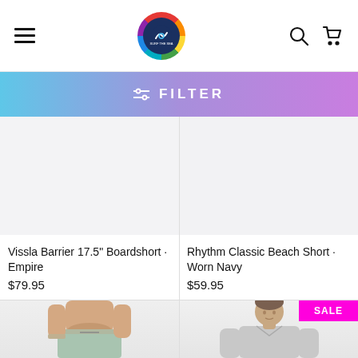Navigation header with hamburger menu, surf brand logo, search and cart icons
FILTER
[Figure (photo): Empty product image placeholder for Vissla Barrier 17.5 Boardshort Empire]
Vissla Barrier 17.5" Boardshort · Empire
$79.95
[Figure (photo): Empty product image placeholder for Rhythm Classic Beach Short Worn Navy]
Rhythm Classic Beach Short · Worn Navy
$59.95
[Figure (photo): Photo of male model wearing light blue/mint boardshorts, torso visible]
[Figure (photo): Photo of male model wearing grey t-shirt, with SALE badge]